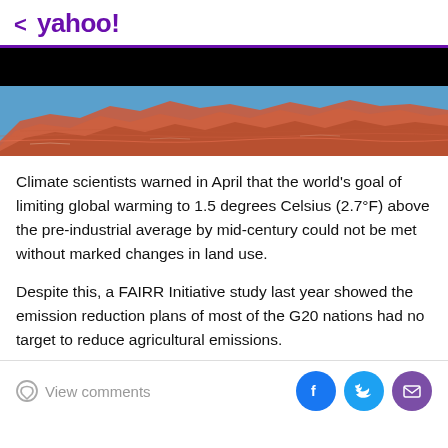< yahoo!
[Figure (photo): Red rock canyon formations against a blue sky, partially obscured by black area at top]
Climate scientists warned in April that the world's goal of limiting global warming to 1.5 degrees Celsius (2.7°F) above the pre-industrial average by mid-century could not be met without marked changes in land use.
Despite this, a FAIRR Initiative study last year showed the emission reduction plans of most of the G20 nations had no target to reduce agricultural emissions.
View comments